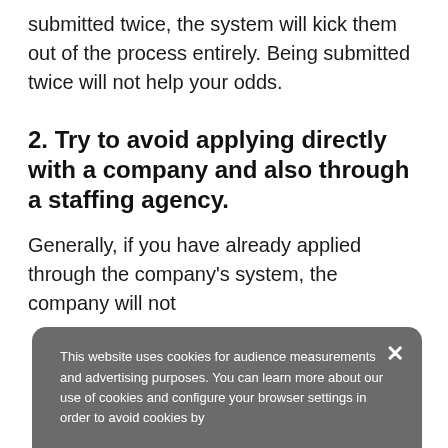submitted twice, the system will kick them out of the process entirely. Being submitted twice will not help your odds.
2. Try to avoid applying directly with a company and also through a staffing agency.
Generally, if you have already applied through the company's system, the company will not
This website uses cookies for audience measurements and advertising purposes. You can learn more about our use of cookies and configure your browser settings in order to avoid cookies by